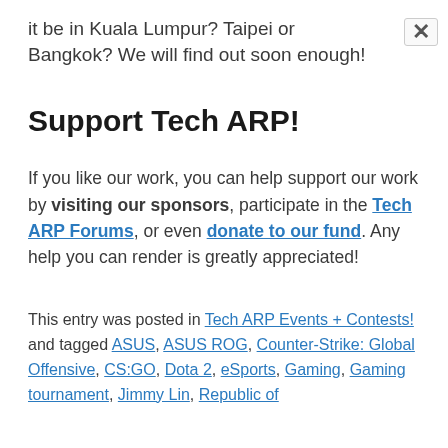it be in Kuala Lumpur? Taipei or Bangkok? We will find out soon enough!
Support Tech ARP!
If you like our work, you can help support our work by visiting our sponsors, participate in the Tech ARP Forums, or even donate to our fund. Any help you can render is greatly appreciated!
This entry was posted in Tech ARP Events + Contests! and tagged ASUS, ASUS ROG, Counter-Strike: Global Offensive, CS:GO, Dota 2, eSports, Gaming, Gaming tournament, Jimmy Lin, Republic of